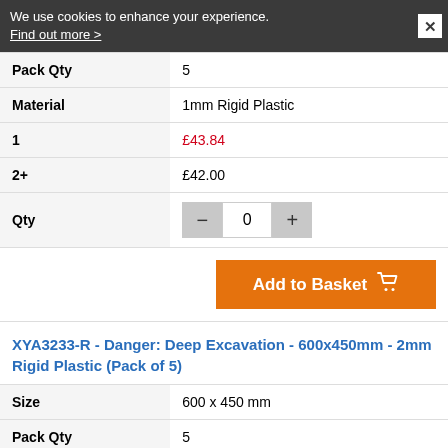We use cookies to enhance your experience. Find out more >
| Pack Qty | 5 |
| Material | 1mm Rigid Plastic |
| 1 | £43.84 |
| 2+ | £42.00 |
| Qty | 0 |
Add to Basket
XYA3233-R - Danger: Deep Excavation - 600x450mm - 2mm Rigid Plastic (Pack of 5)
| Size | 600 x 450 mm |
| Pack Qty | 5 |
| Material | 2mm Rigid Plastic |
| 1 | £77.70 |
| 2+ | £74.03 |